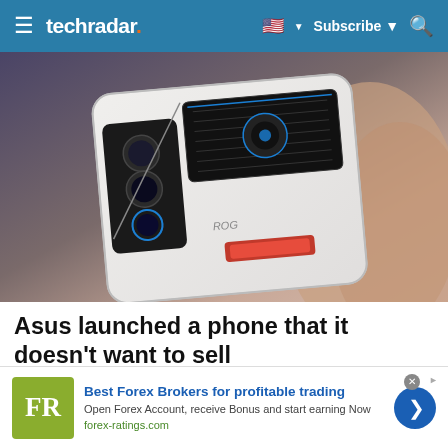techradar | Subscribe
[Figure (photo): Person holding a white Asus ROG Phone 6 gaming smartphone from behind, showing the back panel with camera array and cooling fan design]
Asus launched a phone that it doesn't want to sell
Asus launched Rog Phone 6 almost two months back in India. But the phone is nowhere to be found as it is yet ...
Best Forex Brokers for profitable trading
Open Forex Account, receive Bonus and start earning Now
forex-ratings.com